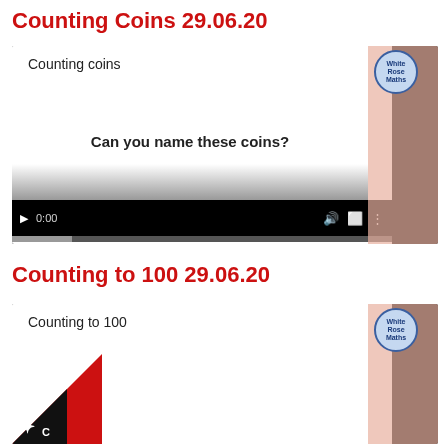Counting Coins 29.06.20
[Figure (screenshot): Screenshot of a video player showing a presentation titled 'Counting coins' with the question 'Can you name these coins?' displayed. The video is paused at 0:00. A salmon/pink sidebar is visible on the right with a circular logo.]
Counting to 100 29.06.20
[Figure (screenshot): Screenshot of a video player showing a presentation titled 'Counting to 100'. A salmon/pink sidebar is visible on the right with a circular logo. A red and black diagonal badge is visible in the bottom-left corner.]